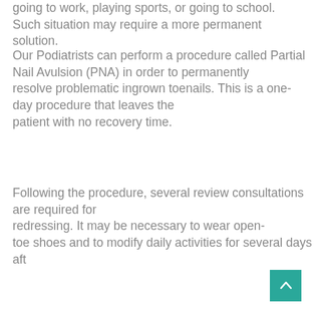going to work, playing sports, or going to school. Such situation may require a more permanent solution.
Our Podiatrists can perform a procedure called Partial Nail Avulsion (PNA) in order to permanently resolve problematic ingrown toenails. This is a one-day procedure that leaves the patient with no recovery time.
Following the procedure, several review consultations are required for redressing. It may be necessary to wear open-toe shoes and to modify daily activities for several days aft